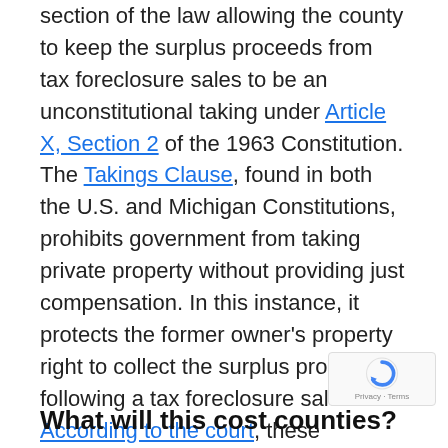section of the law allowing the county to keep the surplus proceeds from tax foreclosure sales to be an unconstitutional taking under Article X, Section 2 of the 1963 Constitution. The Takings Clause, found in both the U.S. and Michigan Constitutions, prohibits government from taking private property without providing just compensation. In this instance, it protects the former owner's property right to collect the surplus proceeds following a tax foreclosure sale. According to the court, these surpluses belong to the property owner.
What will this cost counties?